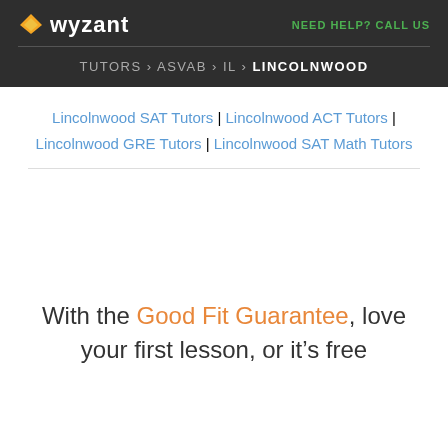Wyzant — NEED HELP? CALL US
TUTORS › ASVAB › IL › LINCOLNWOOD
Lincolnwood SAT Tutors | Lincolnwood ACT Tutors | Lincolnwood GRE Tutors | Lincolnwood SAT Math Tutors
With the Good Fit Guarantee, love your first lesson, or it's free